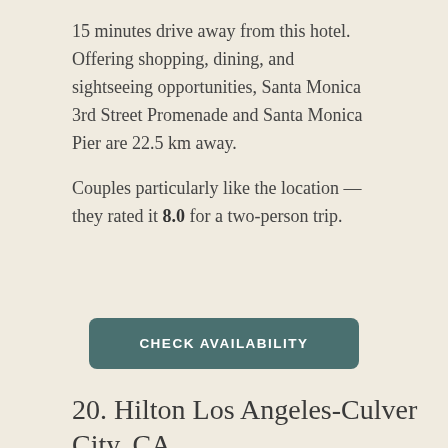15 minutes drive away from this hotel. Offering shopping, dining, and sightseeing opportunities, Santa Monica 3rd Street Promenade and Santa Monica Pier are 22.5 km away.
Couples particularly like the location — they rated it 8.0 for a two-person trip.
CHECK AVAILABILITY
20. Hilton Los Angeles-Culver City, CA
[Figure (photo): Exterior photo of Hilton Los Angeles-Culver City hotel at dusk, showing building facade with palm trees and a white tent structure, against a pink and purple twilight sky]